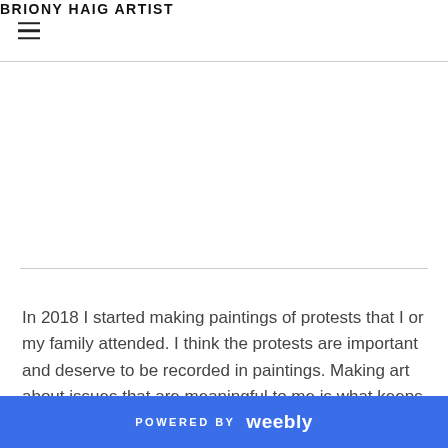BRIONY HAIG ARTIST
In 2018 I started making paintings of protests that I or my family attended. I think the protests are important and deserve to be recorded in paintings. Making art about issues that are meaningful to me is what keeps me going.
POWERED BY weebly